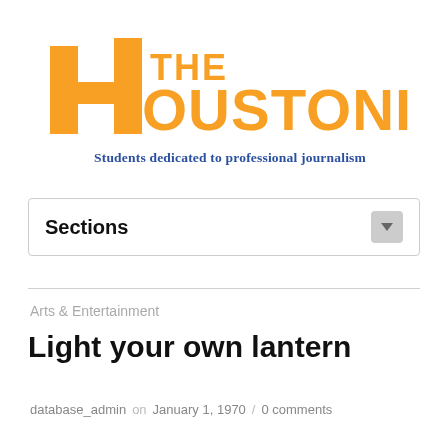[Figure (logo): The Houstonian newspaper logo with orange stylized H and orange text reading THE HOUSTONIAN, with blue tagline 'Students dedicated to professional journalism']
Sections
Arts & Entertainment
Light your own lantern
database_admin on January 1, 1970 / 0 comments